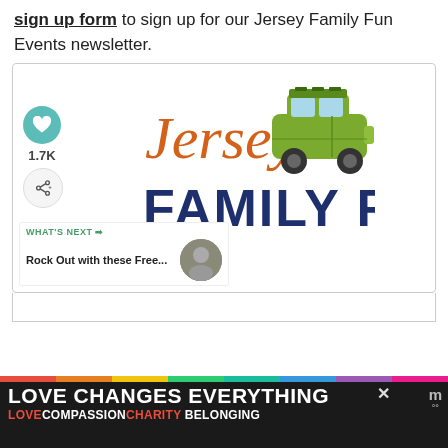sign up form to sign up for our Jersey Family Fun Events newsletter.
[Figure (logo): Jersey Family Fun logo with orange cursive 'Jersey' text, dark blue bold 'FAMILY FUN' text, and a green illustrated car/van. Social interaction buttons (heart icon with 1.7K count, share button) on the left side. 'What's Next' teaser in bottom left corner.]
[Figure (infographic): Advertisement banner: 'LOVE CHANGES EVERYTHING' in white bold text on dark background with rainbow stripe, subtitle 'LOVE COMPASSION CHARITY BELONGING' in colored text. Close and mute buttons visible.]